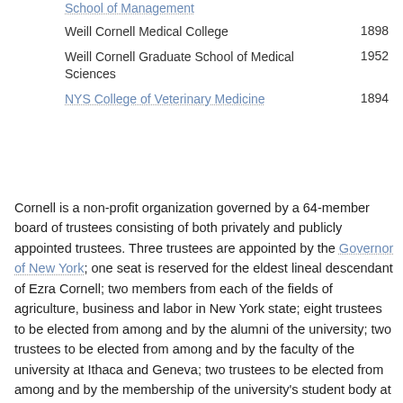| School | Year |
| --- | --- |
| School of Management |  |
| Weill Cornell Medical College | 1898 |
| Weill Cornell Graduate School of Medical Sciences | 1952 |
| NYS College of Veterinary Medicine | 1894 |
Cornell is a non-profit organization governed by a 64-member board of trustees consisting of both privately and publicly appointed trustees. Three trustees are appointed by the Governor of New York; one seat is reserved for the eldest lineal descendant of Ezra Cornell; two members from each of the fields of agriculture, business and labor in New York state; eight trustees to be elected from among and by the alumni of the university; two trustees to be elected from among and by the faculty of the university at Ithaca and Geneva; two trustees to be elected from among and by the membership of the university's student body at